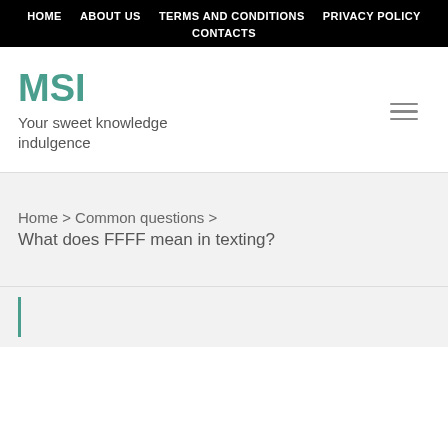HOME   ABOUT US   TERMS AND CONDITIONS   PRIVACY POLICY   CONTACTS
MSI
Your sweet knowledge indulgence
Home > Common questions > What does FFFF mean in texting?